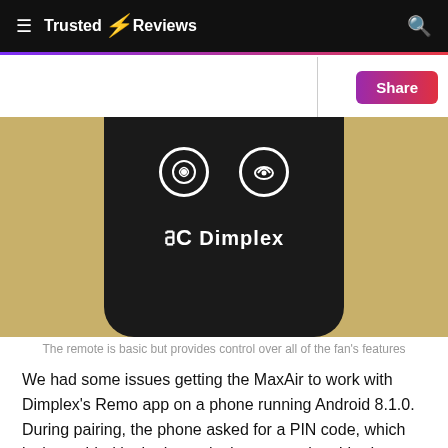Trusted Reviews
[Figure (photo): Close-up of a black Dimplex remote control resting on a wooden surface, showing two circular buttons with icons and the Dimplex logo at the bottom.]
The remote is basic but provides control over all of the fan's features
We had some issues getting the MaxAir to work with Dimplex's Remo app on a phone running Android 8.1.0. During pairing, the phone asked for a PIN code, which isn't provided in the heater's documentation. I had no such problem on an iPhone 7 running iOS 11.2.1, which magicked up the PIN code – I noted it down and used it to connect the Android app.